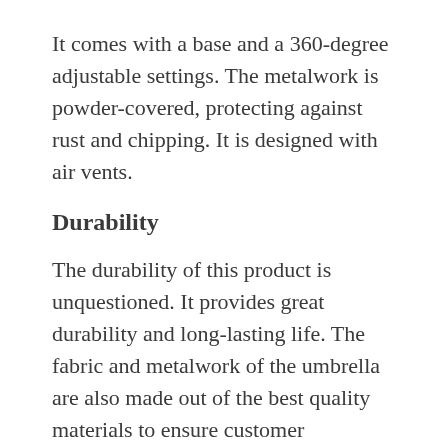It comes with a base and a 360-degree adjustable settings. The metalwork is powder-covered, protecting against rust and chipping. It is designed with air vents.
Durability
The durability of this product is unquestioned. It provides great durability and long-lasting life. The fabric and metalwork of the umbrella are also made out of the best quality materials to ensure customer satisfaction. The umbrella is incredibly easy to assemble and clean. The ads for this umbrella are misguiding stating them as Bluetooth supported umbrellas and the are not able to meet that fit...